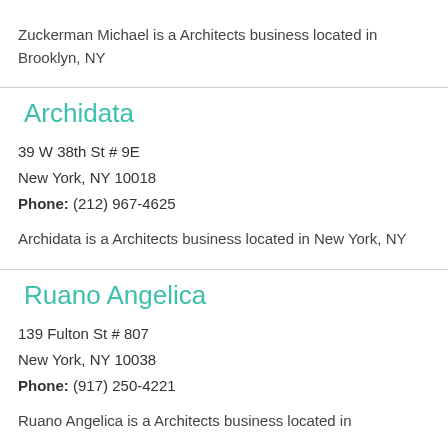Zuckerman Michael is a Architects business located in Brooklyn, NY
Archidata
39 W 38th St # 9E
New York, NY 10018
Phone: (212) 967-4625
Archidata is a Architects business located in New York, NY
Ruano Angelica
139 Fulton St # 807
New York, NY 10038
Phone: (917) 250-4221
Ruano Angelica is a Architects business located in